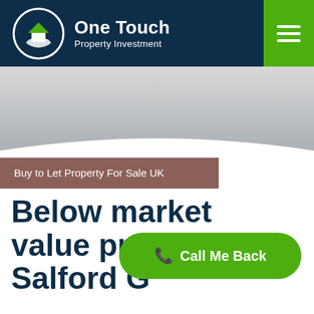[Figure (logo): One Touch Property Investment logo with house icon in a circle and white text on dark navy background]
[Figure (screenshot): Website screenshot showing a curved silver/gray hero background section]
Buy to Let Property For Sale UK
Below market value property in Salford G
[Figure (other): Green Call Me Back button with phone icon]